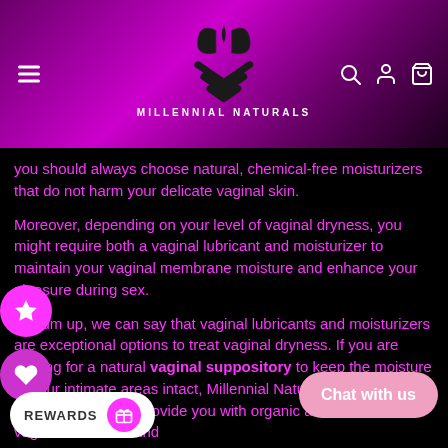MILLENNIAL NATURALS
you should always choose natural, chemical-free moisturizers that do not harm your delicate vaginal skin.
Moreover, depending on your level of vaginal dryness, you might require both a vaginal lubricant and moisturizer to maintain your vaginal membrane moisture and enhance your pleasure during sex.
To sum up, we can say that vaginal lubricants and moisturizers are exceptional options to treat vaginal dryness. If you are looking for a natural vaginal suppository to keep the moisture of your intimate areas intact, Millennial Naturals offers you organic and non-harmful vaginal lubricants and moisturizers. At Millennial Naturals, they provide you with organic and non-harmful vaginal lubricants and